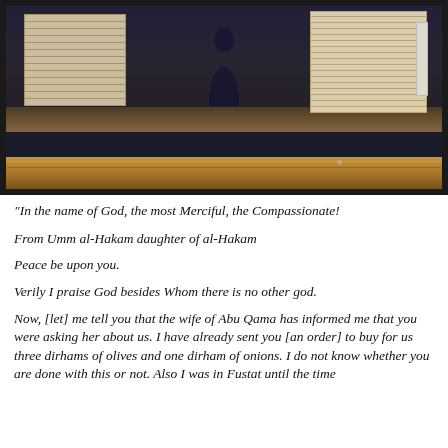[Figure (photo): A photograph of museum exhibit display case showing ancient handwritten documents/manuscripts mounted on white backing boards behind glass, with a dark background and wooden shelf. Two documents are visible — one on the left with faded text, one on the right with dense Arabic handwriting. A person's silhouette is faintly reflected in the glass.]
"In the name of God, the most Merciful, the Compassionate!

From Umm al-Hakam daughter of al-Hakam

Peace be upon you.

Verily I praise God besides Whom there is no other god.

Now, [let] me tell you that the wife of Abu Qama has informed me that you were asking her about us. I have already sent you [an order] to buy for us three dirhams of olives and one dirham of onions. I do not know whether you are done with this or not. Also I was in Fustat until the time